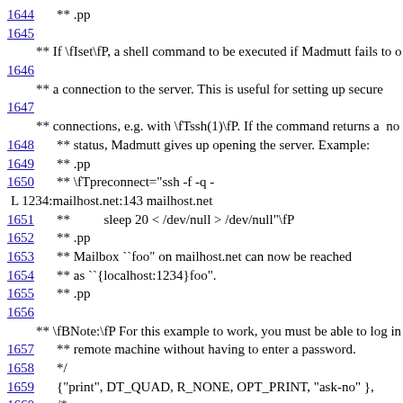1644    ** .pp
1645
** If \fIset\fP, a shell command to be executed if Madmutt fails to o
1646
** a connection to the server. This is useful for setting up secure
1647
** connections, e.g. with \fTssh(1)\fP. If the command returns a  no
1648    ** status, Madmutt gives up opening the server. Example:
1649    ** .pp
1650    ** \fTpreconnect="ssh -f -q -
L 1234:mailhost.net:143 mailhost.net
1651    **          sleep 20 < /dev/null > /dev/null"\fP
1652    ** .pp
1653    ** Mailbox ``foo" on mailhost.net can now be reached
1654    ** as ``{localhost:1234}foo".
1655    ** .pp
1656
** \fBNote:\fP For this example to work, you must be able to log in
1657    ** remote machine without having to enter a password.
1658    */
1659    {"print", DT_QUAD, R_NONE, OPT_PRINT, "ask-no" },
1660    /*
1661    ** .pp
1662
** Controls whether or not Madmutt really prints messages.